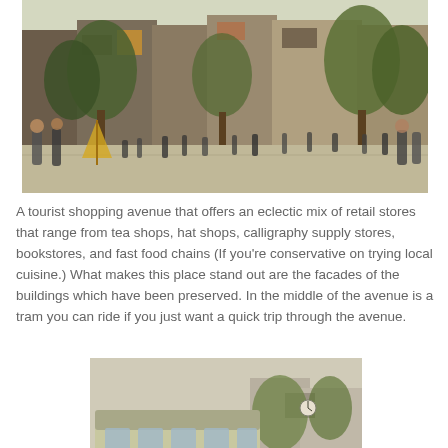[Figure (photo): A wide street-level photo of a tourist shopping avenue lined with trees on both sides, with traditional and modern storefronts, signage in Chinese, and crowds of pedestrians walking along the tree-shaded boulevard.]
A tourist shopping avenue that offers an eclectic mix of retail stores that range from tea shops, hat shops, calligraphy supply stores, bookstores, and fast food chains (If you're conservative on trying local cuisine.) What makes this place stand out are the facades of the buildings which have been preserved. In the middle of the avenue is a tram you can ride if you just want a quick trip through the avenue.
[Figure (photo): A colorful tram/streetcar decorated with cartoon character illustrations, parked on a street with traditional architecture in the background. The tram features a large smiling character face on its side.]